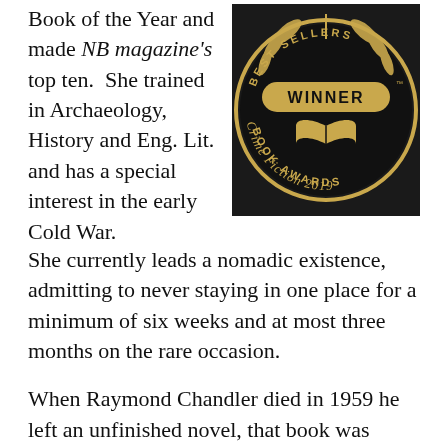Book of the Year and made NB magazine's top ten.  She trained in Archaeology, History and Eng. Lit. and has a special interest in the early Cold War. She currently leads a nomadic existence, admitting to never staying in one place for a minimum of six weeks and at most three months on the rare occasion.
[Figure (illustration): Circular black award badge with gold text reading 'BEST SELLERS WINNER BOOK AWARDS Crime Fiction 2019', with gold laurel leaf decoration and an open book icon.]
When Raymond Chandler died in 1959 he left an unfinished novel, that book was Poodle Springs. Thirty years later, the well-known crime novelist Robert B. Parker finished the book using Chandlers original notes. In the future we won't have to wait for more of